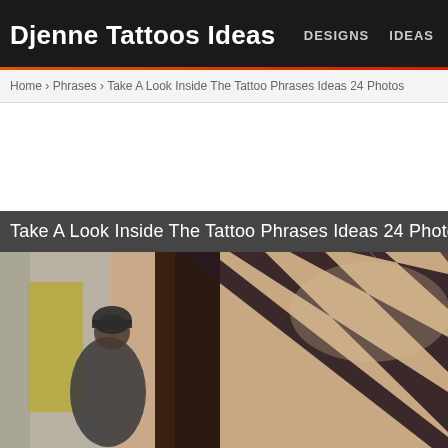Djenne Tattoos Ideas   DESIGNS   IDEAS
Home › Phrases › Take A Look Inside The Tattoo Phrases Ideas 24 Photos
Take A Look Inside The Tattoo Phrases Ideas 24 Photos
[Figure (photo): Close-up photo of a person's upper back/shoulder showing diagonal stripe tattoos in dark ink, with a blurred figure in background wearing dark clothing and a beanie hat]